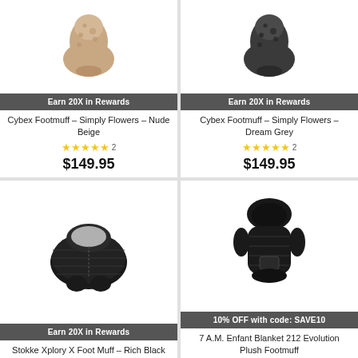[Figure (photo): Cybex Footmuff Simply Flowers Nude Beige product image - tan/beige floral footmuff]
Earn 20X in Rewards
Cybex Footmuff – Simply Flowers – Nude Beige
★★★★★ 2
$149.95
[Figure (photo): Cybex Footmuff Simply Flowers Dream Grey product image - dark grey floral footmuff]
Earn 20X in Rewards
Cybex Footmuff – Simply Flowers – Dream Grey
★★★★★ 2
$149.95
[Figure (photo): Stokke Xplory X Foot Muff in Rich Black - black oval sleeping bag style foot muff]
Earn 20X in Rewards
Stokke Xplory X Foot Muff – Rich Black
[Figure (photo): 7 A.M. Enfant Blanket 212 Evolution Plush Footmuff - black puffy suit-style footmuff]
10% OFF with code: SAVE10
7 A.M. Enfant Blanket 212 Evolution Plush Footmuff